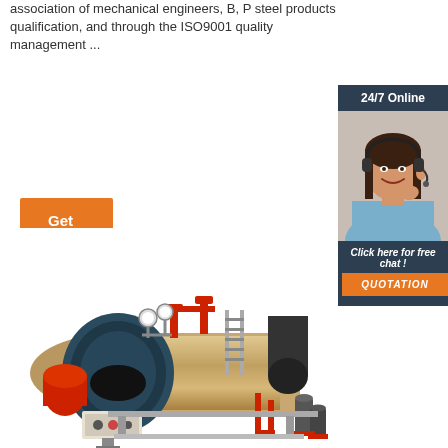association of mechanical engineers, B, P steel products qualification, and through the ISO9001 quality management ...
[Figure (other): Orange 'Get Price' button]
[Figure (infographic): 24/7 Online sidebar with customer service representative photo, 'Click here for free chat!' text, and orange QUOTATION button]
[Figure (photo): Industrial steam boiler with red pipe fittings, dark blue front section, metallic cylindrical body, gauges, control panel, and pump system]